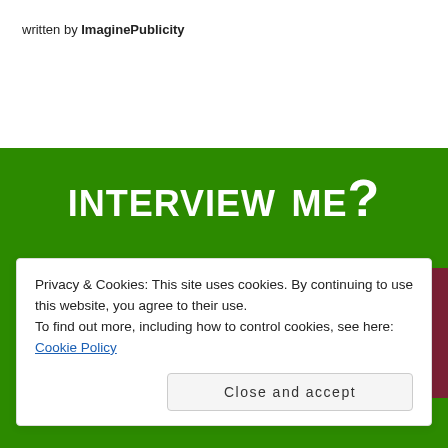written by ImaginePublicity
[Figure (illustration): Green banner with large white small-caps text 'interview me?' and a dark red rectangle containing a gold star in the center-right area]
Privacy & Cookies: This site uses cookies. By continuing to use this website, you agree to their use.
To find out more, including how to control cookies, see here: Cookie Policy
Close and accept